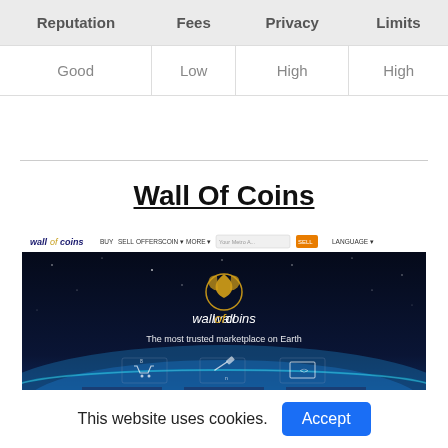| Reputation | Fees | Privacy | Limits |
| --- | --- | --- | --- |
| Good | Low | High | High |
Wall Of Coins
[Figure (screenshot): Wall Of Coins website screenshot showing navigation bar with BUY, SELL, OFFERS, COIN, MORE options and a hero banner with dark space/earth background, Wall of Coins logo and tagline 'The most trusted marketplace on Earth', with BUY, SELL, OFFERS buttons at the bottom]
This website uses cookies.